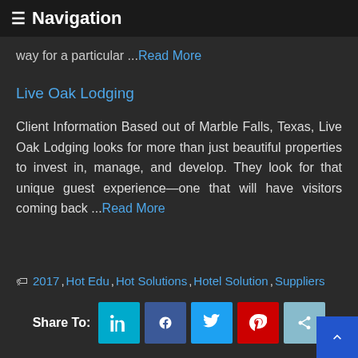≡ Navigation
way for a particular ...Read More
Live Oak Lodging
Client Information Based out of Marble Falls, Texas, Live Oak Lodging looks for more than just beautiful properties to invest in, manage, and develop. They look for that unique guest experience—one that will have visitors coming back ...Read More
🏷 2017, Hot Edu, Hot Solutions, Hotel Solution, Suppliers
Share To: [LinkedIn] [Facebook] [Twitter] [Pinterest] [Share]